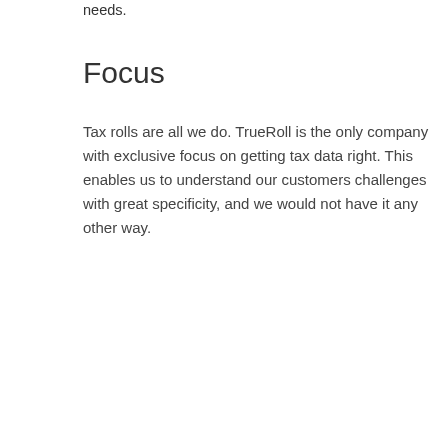we can accommodate your individual needs.
Focus
Tax rolls are all we do. TrueRoll is the only company with exclusive focus on getting tax data right. This enables us to understand our customers challenges with great specificity, and we would not have it any other way.
[Figure (other): Dark navy blue rectangle block, followed by a white rectangle block below it — part of a decorative or informational graphic element.]